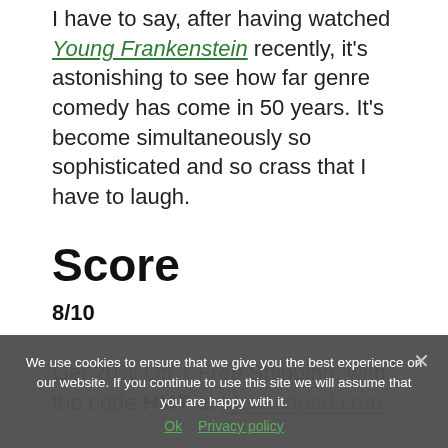I have to say, after having watched Young Frankenstein recently, it's astonishing to see how far genre comedy has come in 50 years. It's become simultaneously so sophisticated and so crass that I have to laugh.
Score
8/10
Get 20% Off + Free Shipping, with the code HMT at Manscaped.com
Get 13% Off your order at NickCharcoal.com when you use code HMT at checkout.
We use cookies to ensure that we give you the best experience on our website. If you continue to use this site we will assume that you are happy with it.